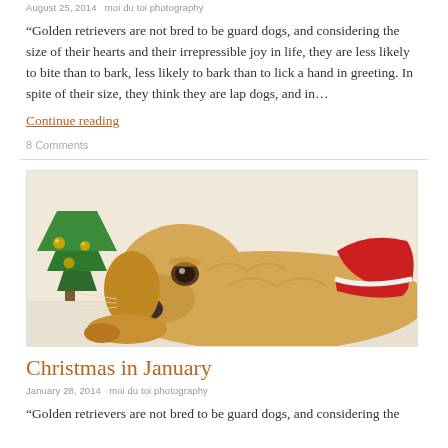August 25, 2014  moi du toi photography
“Golden retrievers are not bred to be guard dogs, and considering the size of their hearts and their irrepressible joy in life, they are less likely to bite than to bark, less likely to bark than to lick a hand in greeting. In spite of their size, they think they are lap dogs, and in…
Continue reading
8 Comments
[Figure (photo): A golden retriever dog wearing a red Santa hat lying next to a Christmas tree with gold ornaments]
Christmas in January
January 28, 2014  moi du toi photography
“Golden retrievers are not bred to be guard dogs, and considering the